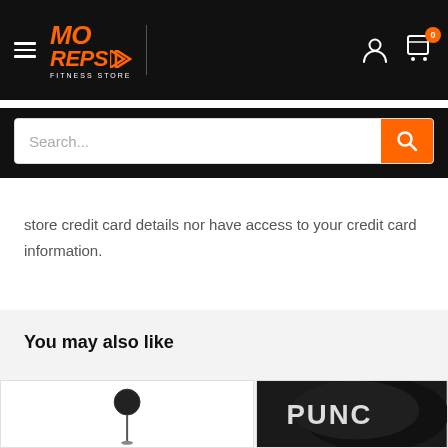[Figure (screenshot): MoReps Fitness Store navigation bar with hamburger menu, orange logo, user and cart icons on black background; search bar below]
store credit card details nor have access to your credit card information.
You may also like
[Figure (photo): Product image of a fitness accessory (appears to be a speed ball or similar equipment on a stand) against a white background]
[Figure (photo): Product image showing a black boxing glove with PUNCH branding, partially visible]